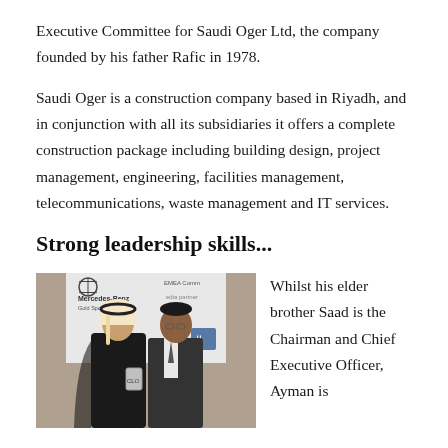Executive Committee for Saudi Oger Ltd, the company founded by his father Rafic in 1978.
Saudi Oger is a construction company based in Riyadh, and in conjunction with all its subsidiaries it offers a complete construction package including building design, project management, engineering, facilities management, telecommunications, waste management and IT services.
Strong leadership skills...
[Figure (photo): Two men at an event with Mercedes-Benz Gold Sponsor banner and EMEA Communications Media partner banner visible in background. One man wearing traditional Saudi attire, the other in a business suit, holding an award that reads CLO.]
Whilst his elder brother Saad is the Chairman and Chief Executive Officer, Ayman is